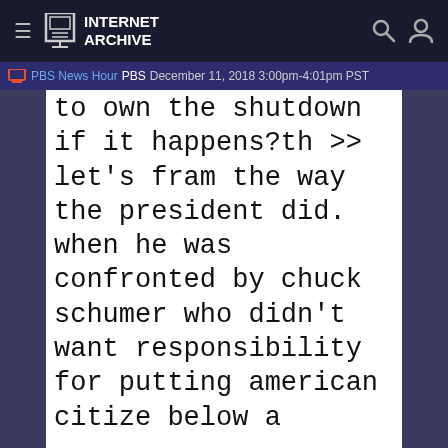INTERNET ARCHIVE
PBS News Hour  PBS  December 11, 2018 3:00pm-4:01pm PST
to own the shutdown if it happens?th >> let's fram the way the president did. when he was confronted by chuck schumer who didn't want responsibility for putting american citize below a
[Figure (screenshot): Orange TV icon]
Borrow Program
Favorite
PBS NewsHour
PBS December 11, 2018 3:00pm-4:01pm PST